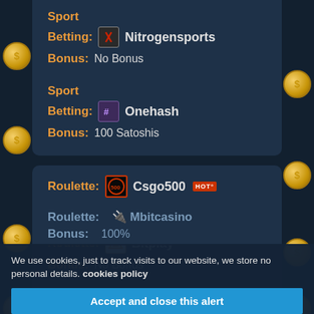Sport Betting: Nitrogensports | Bonus: No Bonus
Sport Betting: Onehash | Bonus: 100 Satoshis
Roulette: Csgo500 | Bonus: Free 500 Bux
Roulette: Bitplay | Bonus: No Bonus
Roulette: Mbitcasino | Bonus: 100%
We use cookies, just to track visits to our website, we store no personal details. cookies policy
Accept and close this alert